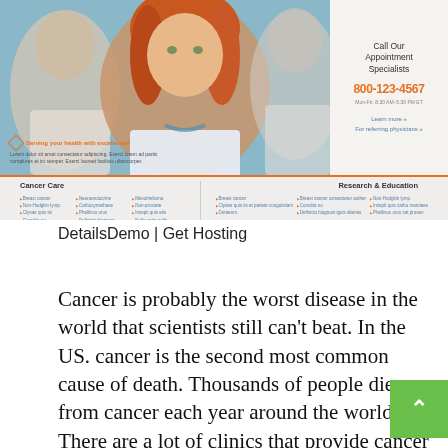[Figure (screenshot): Screenshot of a medical website showing a female doctor with red hair in foreground, two blurred figures behind her. Right panel shows appointment call info. Below is a navigation menu with Cancer Care and Research & Education sections.]
DetailsDemo | Get Hosting
Cancer is probably the worst disease in the world that scientists still can't beat. In the US. cancer is the second most common cause of death. Thousands of people die from cancer each year around the world. There are a lot of clinics that provide cancer care and treatment. Choose the right template. It's also important to provide